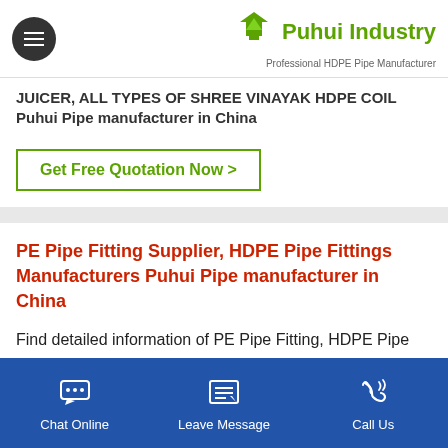Puhui Industry — Professional HDPE Pipe Manufacturer
JUICER, ALL TYPES OF SHREE VINAYAK HDPE COIL Puhui Pipe manufacturer in China
Get Free Quotation Now >
PE Pipe Fitting Supplier, HDPE Pipe Fittings Manufacturers Puhui Pipe manufacturer in China
Find detailed information of PE Pipe Fitting, HDPE Pipe Fittings, Electrofusion Coupler, HDPE Sprinkler System, Mdpe Pipe Fittings Suppliers for your buy requirements. Contact verified PE Pipe Fitting Manufacturers, PE Pipe Fitting wholesalers, PE Pipe Fitting exporters, retailers, traders in
Chat Online | Leave Message | Call Us